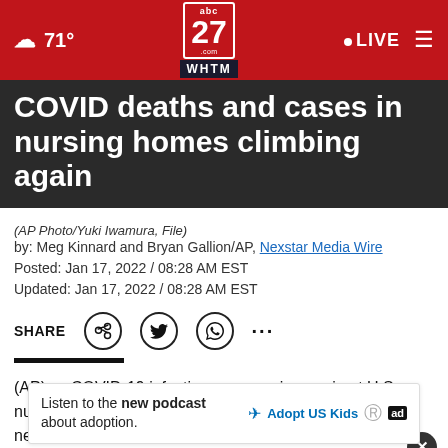abc27 WHTM.com | 71° | LIVE
COVID deaths and cases in nursing homes climbing again
(AP Photo/Yuki Iwamura, File)
by: Meg Kinnard and Bryan Gallion/AP, Nexstar Media Wire
Posted: Jan 17, 2022 / 08:28 AM EST
Updated: Jan 17, 2022 / 08:28 AM EST
SHARE
(AP) — COVID-19 infections are soaring again at U.S. nursing homes, and deaths are climbing, too, leading to new restrictions